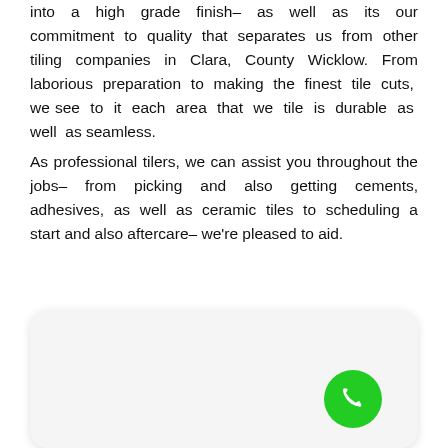into a high grade finish– as well as its our commitment to quality that separates us from other tiling companies in Clara, County Wicklow. From laborious preparation to making the finest tile cuts, we see to it each area that we tile is durable as well as seamless.
As professional tilers, we can assist you throughout the jobs– from picking and also getting cements, adhesives, as well as ceramic tiles to scheduling a start and also aftercare– we're pleased to aid.
[Figure (other): A white rounded rectangle card/panel with a green circular phone call button in the bottom-right corner containing a white telephone handset icon.]